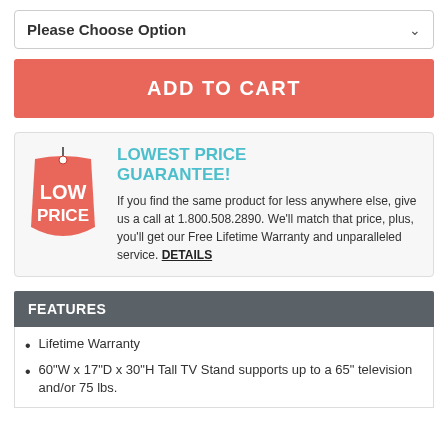Please Choose Option
ADD TO CART
[Figure (illustration): Red price tag with white text LOW PRICE]
LOWEST PRICE GUARANTEE!
If you find the same product for less anywhere else, give us a call at 1.800.508.2890. We'll match that price, plus, you'll get our Free Lifetime Warranty and unparalleled service. DETAILS
FEATURES
Lifetime Warranty
60"W x 17"D x 30"H Tall TV Stand supports up to a 65" television and/or 75 lbs.